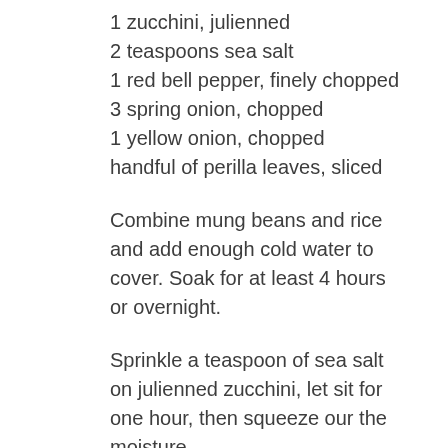1 zucchini, julienned
2 teaspoons sea salt
1 red bell pepper, finely chopped
3 spring onion, chopped
1 yellow onion, chopped
handful of perilla leaves, sliced
Combine mung beans and rice and add enough cold water to cover. Soak for at least 4 hours or overnight.
Sprinkle a teaspoon of sea salt on julienned zucchini, let sit for one hour, then squeeze our the moisture.